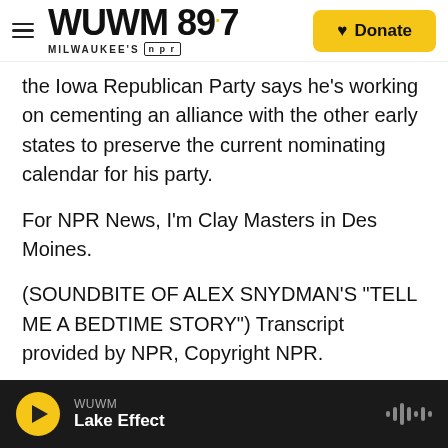WUWM 89.7 MILWAUKEE'S NPR — Donate
the Iowa Republican Party says he's working on cementing an alliance with the other early states to preserve the current nominating calendar for his party.
For NPR News, I'm Clay Masters in Des Moines.
(SOUNDBITE OF ALEX SNYDMAN'S "TELL ME A BEDTIME STORY") Transcript provided by NPR, Copyright NPR.
Politics & Government
WUWM Lake Effect